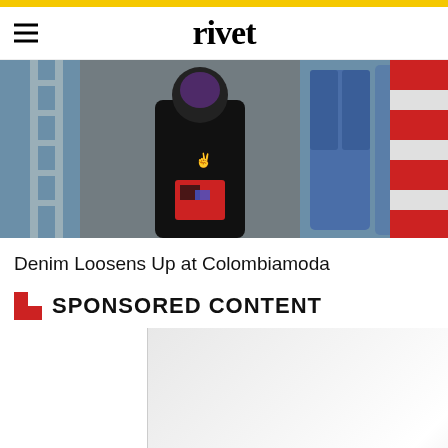rivet
[Figure (photo): Person in black t-shirt with purple hair standing in front of hanging denim jackets and an American flag backdrop at Colombiamoda fashion event]
Denim Loosens Up at Colombiamoda
SPONSORED CONTENT
[Figure (screenshot): Partially visible sponsored content advertisement overlay with gray gradient background and X close button]
[Figure (infographic): Bottom banner advertisement with dark navy background showing 'Four Decades of Excellence' text and globe graphic]